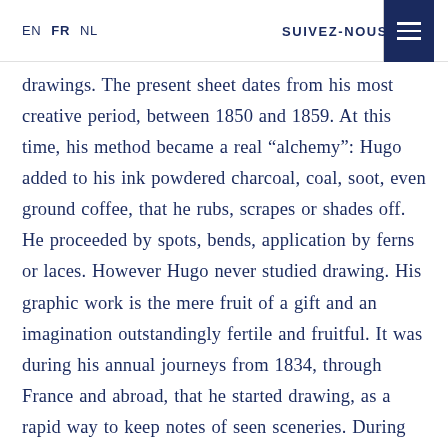EN  FR  NL   SUIVEZ-NOUS
drawings. The present sheet dates from his most creative period, between 1850 and 1859. At this time, his method became a real “alchemy”: Hugo added to his ink powdered charcoal, coal, soot, even ground coffee, that he rubs, scrapes or shades off. He proceeded by spots, bends, application by ferns or laces. However Hugo never studied drawing. His graphic work is the mere fruit of a gift and an imagination outstandingly fertile and fruitful. It was during his annual journeys from 1834, through France and abroad, that he started drawing, as a rapid way to keep notes of seen sceneries. During his journey through the Rhine valley (1840), wash drawing became his second means for lyric expression,